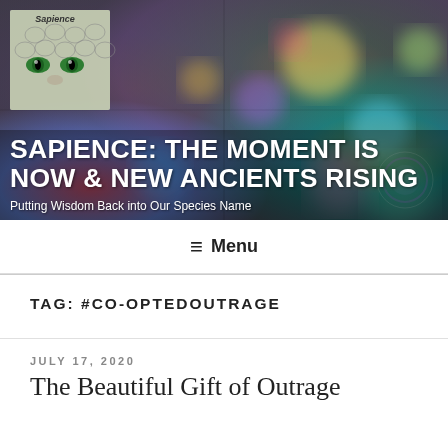[Figure (illustration): Website header banner with colorful abstract psychedelic background in rainbow colors with bokeh/CD-like reflections. A small logo image in the top-left shows a stylized face with snake-scale texture and green eyes, with text 'Sapience' overlaid.]
SAPIENCE: THE MOMENT IS NOW & NEW ANCIENTS RISING
Putting Wisdom Back into Our Species Name
≡ Menu
TAG: #CO-OPTEDOUTRAGE
JULY 17, 2020
The Beautiful Gift of Outrage